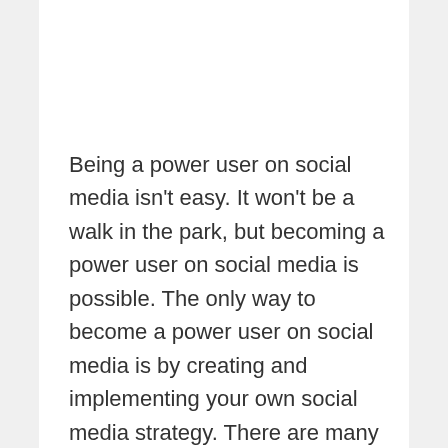Being a power user on social media isn't easy. It won't be a walk in the park, but becoming a power user on social media is possible. The only way to become a power user on social media is by creating and implementing your own social media strategy. There are many components that go into the right social media strategy. Some are necessary components, others are optional, and since this is your social media strategy, you have the option to add more components to your